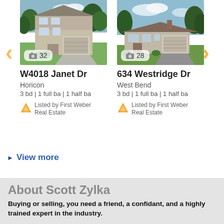[Figure (photo): Photo of house at W4018 Janet Dr, Horicon - a two-story house with garage and driveway, photo count badge showing 32]
W4018 Janet Dr
Horicon
3 bd | 1 full ba | 1 half ba
Listed by First Weber Real Estate
[Figure (photo): Photo of house at 634 Westridge Dr, West Bend - a ranch-style house with garage and driveway, photo count badge showing 28]
634 Westridge Dr
West Bend
3 bd | 1 full ba | 1 half ba
Listed by First Weber Real Estate
View more
About Scott Zylka
Buying or selling, you need a friend, a confidant, and a highly trained expert in the industry.